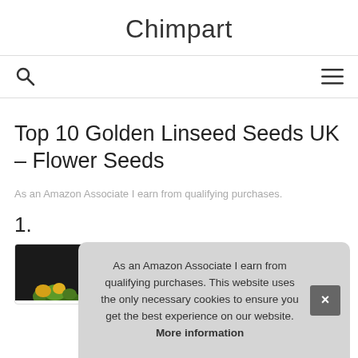Chimpart
[Figure (other): Search icon (magnifying glass) on left and hamburger menu icon on right forming navigation bar]
Top 10 Golden Linseed Seeds UK – Flower Seeds
As an Amazon Associate I earn from qualifying purchases.
1.
[Figure (photo): Partial product card showing a dark background image with yellow flowers/plants at the bottom]
As an Amazon Associate I earn from qualifying purchases. This website uses the only necessary cookies to ensure you get the best experience on our website. More information